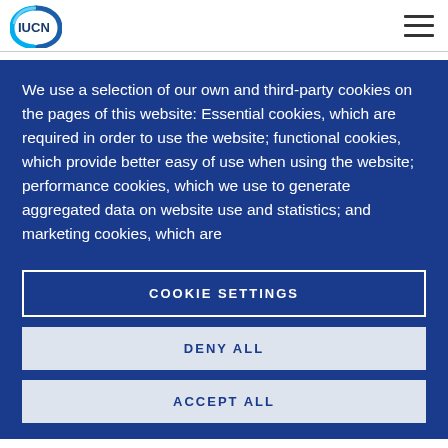[Figure (logo): IUCN logo with circular blue-green arc and bold dark blue IUCN text]
Home / Worst attack on Virunga National Park rangers in …
We use a selection of our own and third-party cookies on the pages of this website: Essential cookies, which are required in order to use the website; functional cookies, which provide better easy of use when using the website; performance cookies, which we use to generate aggregated data on website use and statistics; and marketing cookies, which are
COOKIE SETTINGS
DENY ALL
ACCEPT ALL